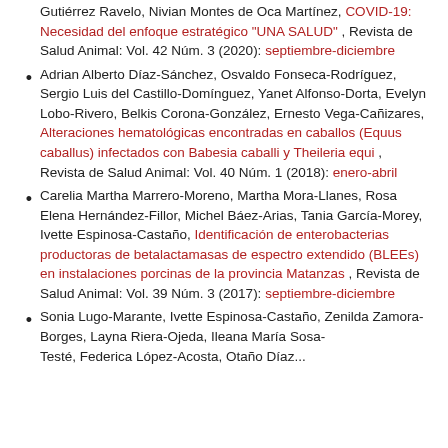Gutiérrez Ravelo, Nivian Montes de Oca Martínez, COVID-19: Necesidad del enfoque estratégico "UNA SALUD", Revista de Salud Animal: Vol. 42 Núm. 3 (2020): septiembre-diciembre
Adrian Alberto Díaz-Sánchez, Osvaldo Fonseca-Rodríguez, Sergio Luis del Castillo-Domínguez, Yanet Alfonso-Dorta, Evelyn Lobo-Rivero, Belkis Corona-González, Ernesto Vega-Cañizares, Alteraciones hematológicas encontradas en caballos (Equus caballus) infectados con Babesia caballi y Theileria equi, Revista de Salud Animal: Vol. 40 Núm. 1 (2018): enero-abril
Carelia Martha Marrero-Moreno, Martha Mora-Llanes, Rosa Elena Hernández-Fillor, Michel Báez-Arias, Tania García-Morey, Ivette Espinosa-Castaño, Identificación de enterobacterias productoras de betalactamasas de espectro extendido (BLEEs) en instalaciones porcinas de la provincia Matanzas, Revista de Salud Animal: Vol. 39 Núm. 3 (2017): septiembre-diciembre
Sonia Lugo-Marante, Ivette Espinosa-Castaño, Zenilda Zamora-Borges, Layna Riera-Ojeda, Ileana María Sosa-Testé, Federica López-Acosta, Otaño Díaz...